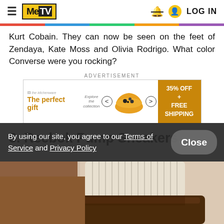MeTV — LOG IN
Kurt Cobain. They can now be seen on the feet of Zendaya, Kate Moss and Olivia Rodrigo. What color Converse were you rocking?
ADVERTISEMENT
[Figure (other): Advertisement banner for 'The perfect gift' showing a golden bowl with food items, navigation arrows, and a gold badge reading '35% OFF + FREE SHIPPING']
3. Reebok Pump Sneakers
By using our site, you agree to our Terms of Service and Privacy Policy
[Figure (photo): Close-up photo of a person wearing ribbed white socks and dark brown shoes or boots, against a light/cream background]